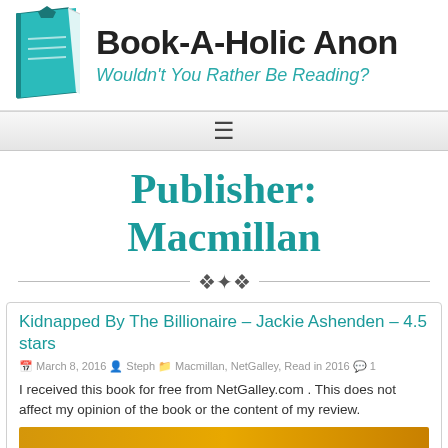Book-A-Holic Anon — Wouldn't You Rather Be Reading?
[Figure (logo): Teal book logo icon for Book-A-Holic Anon]
Publisher: Macmillan
Kidnapped By The Billionaire – Jackie Ashenden – 4.5 stars
March 8, 2016   Steph   Macmillan, NetGalley, Read in 2016   1
I received this book for free from NetGalley.com . This does not affect my opinion of the book or the content of my review.